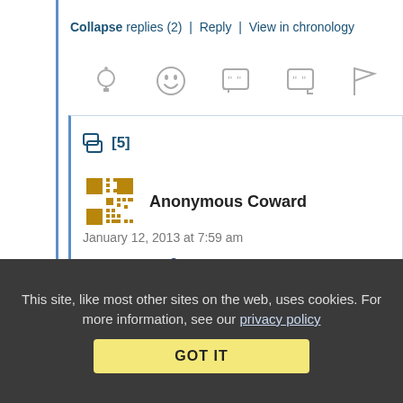Collapse replies (2) | Reply | View in chronology
[Figure (screenshot): Row of action icons: lightbulb/idea, laughing emoji, chat with quote, speech bubble with quote, flag]
[5]
[Figure (illustration): Pixel art / QR code style avatar in gold/yellow color]
Anonymous Coward
January 12, 2013 at 7:59 am
Re: Re: Re:² Guilty until competitors are "convinced"
This site, like most other sites on the web, uses cookies. For more information, see our privacy policy
GOT IT